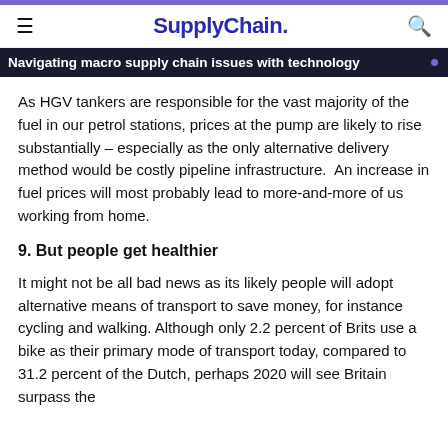SupplyChain.
Navigating macro supply chain issues with technology
As HGV tankers are responsible for the vast majority of the fuel in our petrol stations, prices at the pump are likely to rise substantially – especially as the only alternative delivery method would be costly pipeline infrastructure.  An increase in fuel prices will most probably lead to more-and-more of us working from home.
9. But people get healthier
It might not be all bad news as its likely people will adopt alternative means of transport to save money, for instance cycling and walking. Although only 2.2 percent of Brits use a bike as their primary mode of transport today, compared to 31.2 percent of the Dutch, perhaps 2020 will see Britain surpass the